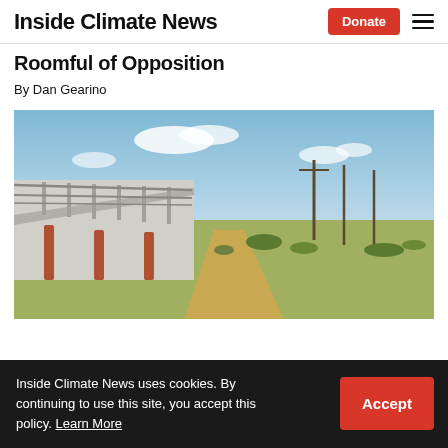Inside Climate News — Donate (button) — hamburger menu
Roomful of Opposition
By Dan Gearino
[Figure (photo): A rural highway bridge with metal railing on the left, leading across flat scrubland with utility poles and a blue cloudy sky in the background.]
Inside Climate News uses cookies. By continuing to use this site, you accept this policy. Learn More